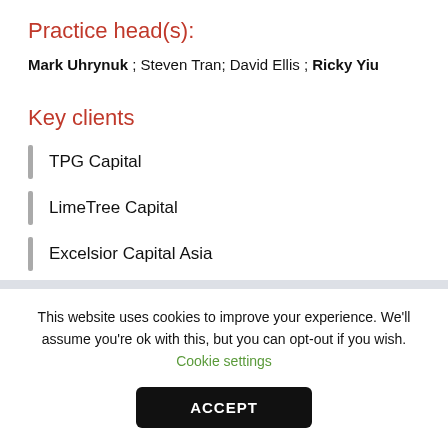Practice head(s):
Mark Uhrynuk ; Steven Tran; David Ellis ; Ricky Yiu
Key clients
TPG Capital
LimeTree Capital
Excelsior Capital Asia
Leapfrog Investments
This website uses cookies to improve your experience. We'll assume you're ok with this, but you can opt-out if you wish. Cookie settings